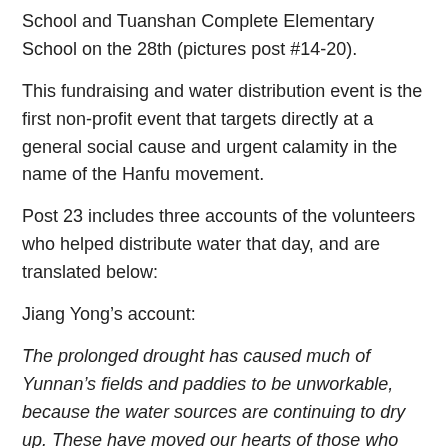School and Tuanshan Complete Elementary School on the 28th (pictures post #14-20).
This fundraising and water distribution event is the first non-profit event that targets directly at a general social cause and urgent calamity in the name of the Hanfu movement.
Post 23 includes three accounts of the volunteers who helped distribute water that day, and are translated below:
Jiang Yong’s account:
The prolonged drought has caused much of Yunnan’s fields and paddies to be unworkable, because the water sources are continuing to dry up. These have moved our hearts of those who live in the city, and Yunnan Hanfu Association organized this “Sending our prayers and